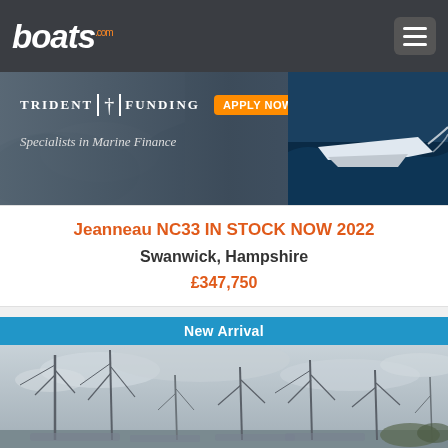boats.com
[Figure (screenshot): Trident Funding advertisement banner — Specialists in Marine Finance, Apply Now button, boat image on right]
Jeanneau NC33 IN STOCK NOW 2022
Swanwick, Hampshire
£347,750
New Arrival
[Figure (photo): Marina with sailboat masts visible against a cloudy grey sky, low angle shot showing multiple masts and rigging]
Contact
Call